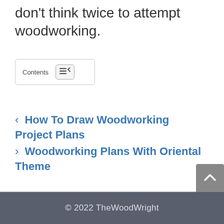don't think twice to attempt woodworking.
[Figure (other): Contents toggle button with lines icon]
< How To Draw Woodworking Project Plans
> Woodworking Plans With Oriental Theme
© 2022 TheWoodWright